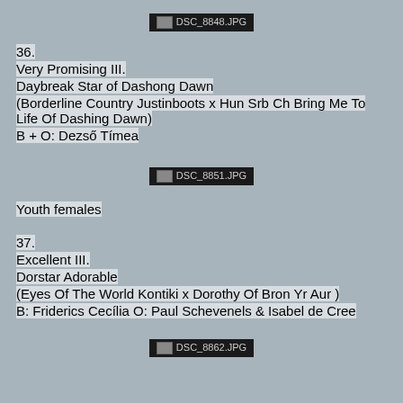[Figure (photo): Placeholder image DSC_8848.JPG]
36.
Very Promising III.
Daybreak Star of Dashong Dawn
(Borderline Country Justinboots x Hun Srb Ch Bring Me To Life Of Dashing Dawn)
B + O: Dezső Tímea
[Figure (photo): Placeholder image DSC_8851.JPG]
Youth females
37.
Excellent III.
Dorstar Adorable
(Eyes Of The World Kontiki x Dorothy Of Bron Yr Aur )
B: Friderics Cecília O: Paul Schevenels & Isabel de Cree
[Figure (photo): Placeholder image DSC_8862.JPG]